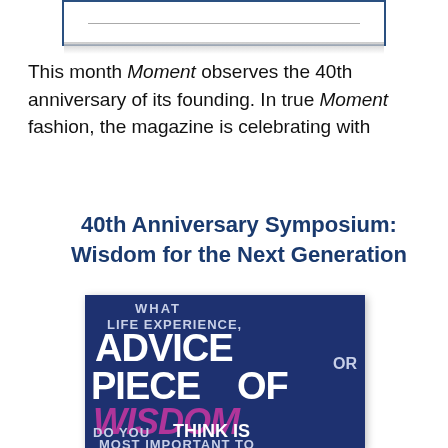[Figure (other): Partial view of a boxed image at the top of the page, showing a bordered rectangle with a faint horizontal line inside.]
This month Moment observes the 40th anniversary of its founding. In true Moment fashion, the magazine is celebrating with
40th Anniversary Symposium: Wisdom for the Next Generation
[Figure (illustration): Dark navy blue promotional image with large bold white text reading 'WHAT LIFE EXPERIENCE, ADVICE OR PIECE OF' and magenta italic text 'WISDOM' followed by text 'DO YOU THINK IS MOST IMPORTANT TO PASS ON TO']